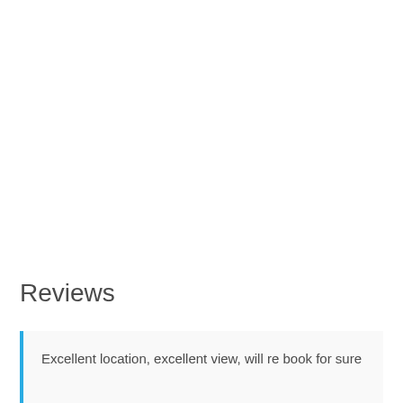Reviews
Excellent location, excellent view, will re book for sure